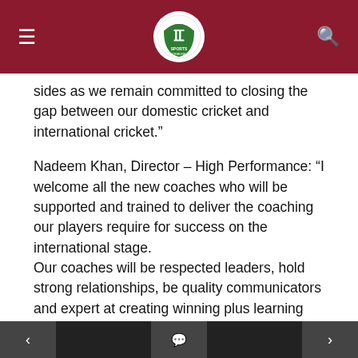Sports Tribune header nav bar with logo
sides as we remain committed to closing the gap between our domestic cricket and international cricket."
Nadeem Khan, Director – High Performance: “I welcome all the new coaches who will be supported and trained to deliver the coaching our players require for success on the international stage.
Our coaches will be respected leaders, hold strong relationships, be quality communicators and expert at creating winning plus learning environments.
“I also want to thank all the outgoing coaches for their contributions and urge them to remain
< [comment icon] >